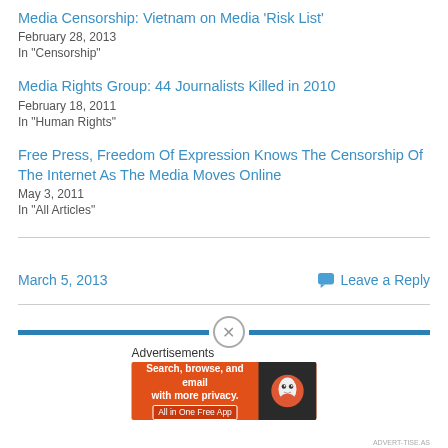Media Censorship: Vietnam on Media 'Risk List'
February 28, 2013
In "Censorship"
Media Rights Group: 44 Journalists Killed in 2010
February 18, 2011
In "Human Rights"
Free Press, Freedom Of Expression Knows The Censorship Of The Internet As The Media Moves Online
May 3, 2011
In "All Articles"
March 5, 2013
Leave a Reply
Advertisements
[Figure (other): DuckDuckGo advertisement banner: 'Search, browse, and email with more privacy. All in One Free App' with DuckDuckGo duck logo on dark background]